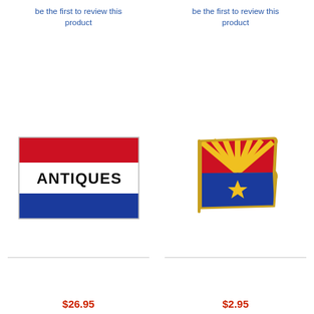be the first to review this product
be the first to review this product
[Figure (photo): Antiques banner flag sign with red top stripe, white middle stripe with 'ANTIQUES' text in black, and blue bottom stripe]
[Figure (photo): Arizona state flag lapel pin with gold border, red and yellow sunburst on top half, blue on bottom half]
$26.95
$2.95